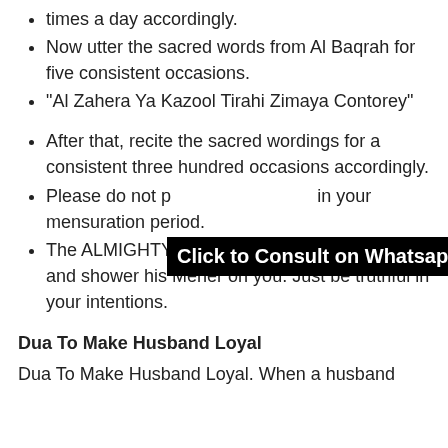times a day accordingly.
Now utter the sacred words from Al Baqrah for five consistent occasions.
“Al Zahera Ya Kazool Tirahi Zimaya Contorey”
After that, recite the sacred wordings for a consistent three hundred occasions accordingly.
Please do not p[erform this wazifa] in your mensuration period.
The ALMIGHTY Allah will accept your prayer and shower his Meher on you. Just be truthful in your intentions.
[Figure (other): Black banner overlay with text: Click to Consult on Whatsapp]
Dua To Make Husband Loyal
Dua To Make Husband Loyal. When a husband